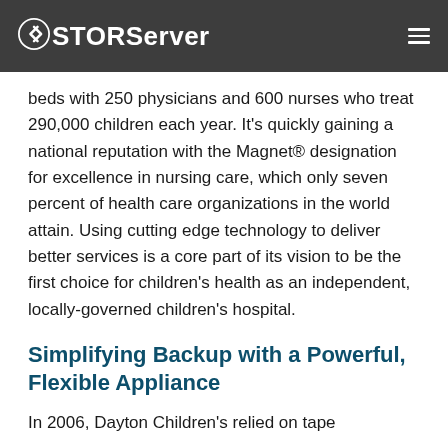STORServer
beds with 250 physicians and 600 nurses who treat 290,000 children each year. It’s quickly gaining a national reputation with the Magnet® designation for excellence in nursing care, which only seven percent of health care organizations in the world attain. Using cutting edge technology to deliver better services is a core part of its vision to be the first choice for children’s health as an independent, locally-governed children’s hospital.
Simplifying Backup with a Powerful, Flexible Appliance
In 2006, Dayton Children’s relied on tape